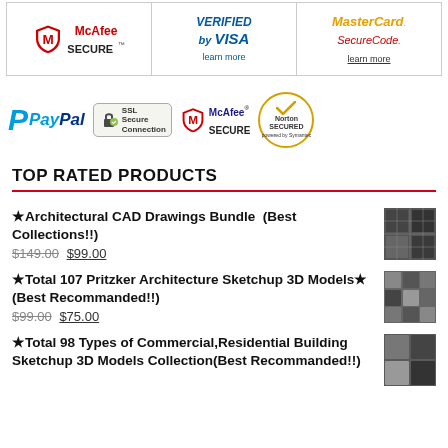[Figure (other): Security badges table with McAfee SECURE, VERIFIED by VISA (learn more), and MasterCard SecureCode (learn more)]
[Figure (other): Payment security strip showing PayPal, SSL Secure Connection, McAfee SECURE, and Norton SECURED powered by Symantec logos]
TOP RATED PRODUCTS
★Architectural CAD Drawings Bundle (Best Collections!!) $149.00 $99.00
★Total 107 Pritzker Architecture Sketchup 3D Models★ (Best Recommanded!!) $99.00 $75.00
★Total 98 Types of Commercial,Residential Building Sketchup 3D Models Collection(Best Recommanded!!)